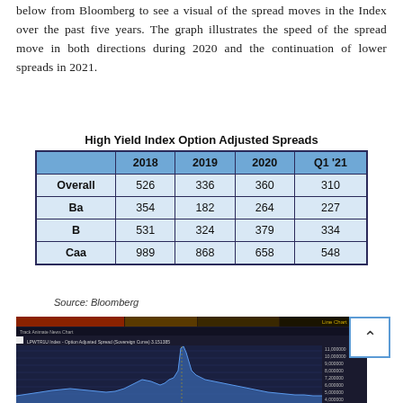below from Bloomberg to see a visual of the spread moves in the Index over the past five years. The graph illustrates the speed of the spread move in both directions during 2020 and the continuation of lower spreads in 2021.
|  | 2018 | 2019 | 2020 | Q1 '21 |
| --- | --- | --- | --- | --- |
| Overall | 526 | 336 | 360 | 310 |
| Ba | 354 | 182 | 264 | 227 |
| B | 531 | 324 | 379 | 334 |
| Caa | 989 | 868 | 658 | 548 |
Source: Bloomberg
[Figure (continuous-plot): Bloomberg line chart showing High Yield Index Option Adjusted Spread (Sovereign Curve) over approximately five years, with a sharp spike visible in 2020 reaching around 11,000000, then declining to lower levels in 2021. Y-axis shows values from approximately 4,000000 to 11,000000.]